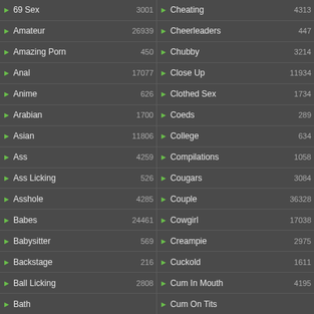| Category | Count | Category | Count |
| --- | --- | --- | --- |
| 69 Sex | 3001 | Cheating | 4313 |
| Amateur | 26939 | Cheerleaders | 447 |
| Amazing Porn | 450 | Chubby | 3214 |
| Anal | 17077 | Close Up | 11934 |
| Anime | 626 | Clothed Sex | 1734 |
| Arabian | 1700 | Coeds | 289 |
| Asian | 11806 | College | 634 |
| Ass | 4259 | Compilations | 1058 |
| Ass Licking | 526 | Cougars | 3084 |
| Asshole | 4285 | Couple | 36328 |
| Babes | 24461 | Cowgirl | 17038 |
| Babysitter | 569 | Creampie | 2975 |
| Backstage | 216 | Cuckold | 1611 |
| Ball Licking | 2808 | Cum In Mouth | 4195 |
| Bath | ... | Cum On Tits | ... |